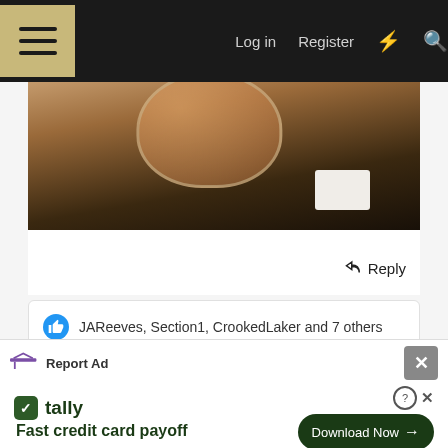Log in  Register
[Figure (photo): Partial view of a glass with amber liquid (whiskey/beer) on a dark surface with a white card visible]
Reply
JAReeves, Section1, CrookedLaker and 7 others
Advertisement
Report Ad
tally  Fast credit card payoff
Download Now